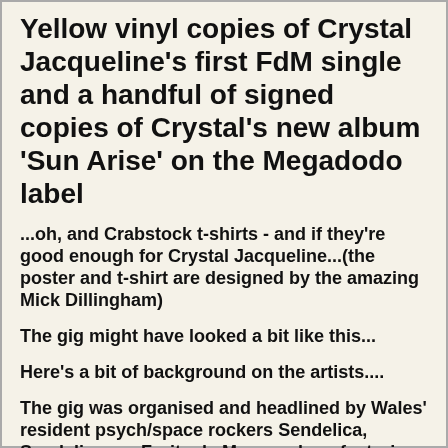Yellow vinyl copies of Crystal Jacqueline's first FdM single and a handful of signed copies of Crystal's new album 'Sun Arise' on the Megadodo label
...oh, and Crabstock t-shirts - and if they're good enough for Crystal Jacqueline...(the poster and t-shirt are designed by the amazing Mick Dillingham)
The gig might have looked a bit like this...
Here's a bit of background on the artists....
The gig was organised and headlined by Wales' resident psych/space rockers Sendelica, Sendelica are Fruits de Mer regulars, featuring on many releases – from their stunning version of The Velvet Underground's 'Venus In Furs' to a sidelong track on FdM's recent 'strangefish'